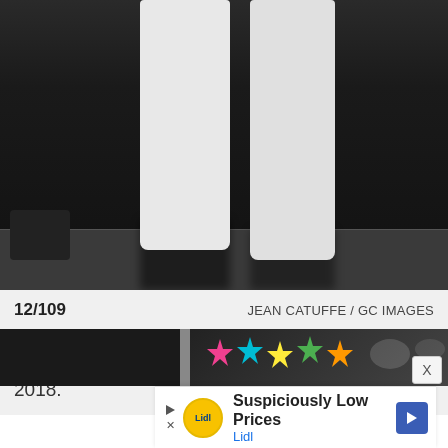[Figure (photo): Cropped photo showing lower body of a person wearing white pants/trousers standing on a dark tiled floor. Black background. A dark bag is visible at the lower left.]
12/109   JEAN CATUFFE / GC IMAGES
Jill Hennessy attends the men's final on day 14 of the U.S. Open in Flushing, New York, on Sept. 9, 2018.
[Figure (photo): Bottom strip showing partial view of next slideshow image — dark background with colorful star graphics and a person partially visible.]
[Figure (logo): Lidl advertisement banner with yellow Lidl logo circle, text 'Suspiciously Low Prices' and 'Lidl', and a blue navigation arrow icon.]